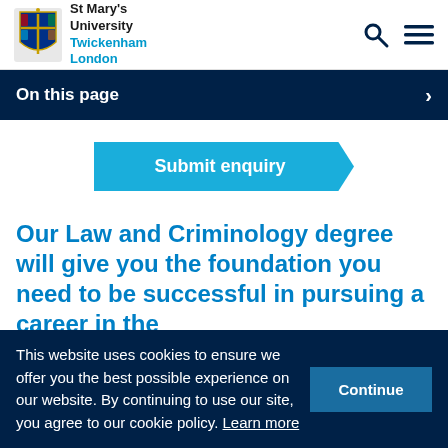[Figure (logo): St Mary's University Twickenham London crest and name logo]
St Mary's University Twickenham London
On this page
Submit enquiry
Our Law and Criminology degree will give you the foundation you need to be successful in pursuing a career in the
This website uses cookies to ensure we offer you the best possible experience on our website. By continuing to use our site, you agree to our cookie policy. Learn more